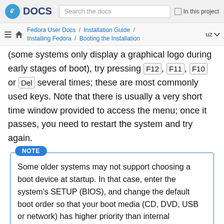Fedora DOCS | Search the docs | In this project
Fedora User Docs / Installation Guide / Installing Fedora / Booting the Installation | uz
(some systems only display a graphical logo during early stages of boot), try pressing F12, F11, F10 or Del several times; these are most commonly used keys. Note that there is usually a very short time window provided to access the menu; once it passes, you need to restart the system and try again.
NOTE
Some older systems may not support choosing a boot device at startup. In that case, enter the system's SETUP (BIOS), and change the default boot order so that your boot media (CD, DVD, USB or network) has higher priority than internal